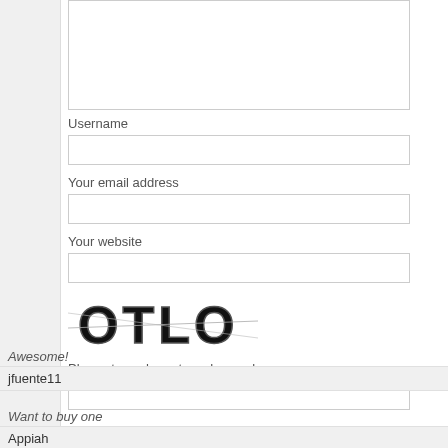[Figure (screenshot): Web form with Username, Your email address, Your website fields, a CAPTCHA image showing OTLO, and a text input for CAPTCHA answer.]
Username
Your email address
Your website
[Figure (illustration): CAPTCHA image showing text OTLO in bold stylized letters]
Please type characters shown above
Awesome!
jfuente11
Want to buy one
Appiah